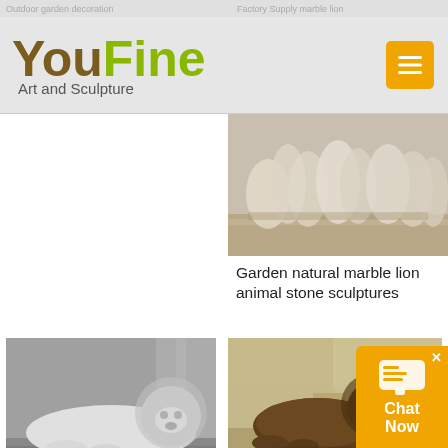Outdoor garden decoration   Factory Supply marble lion
[Figure (logo): YouFine Art and Sculpture logo with menu button]
[Figure (photo): White marble lion animal stone sculptures in a workshop setting]
Garden natural marble lion animal stone sculptures
[Figure (photo): Popular design life size white marble lion statue lying down]
Popular design life Size marble Lion statues outdoor
[Figure (photo): Western design antique bronze lion sculpture crouching]
Western design antique bronze lion sculptures with high quality